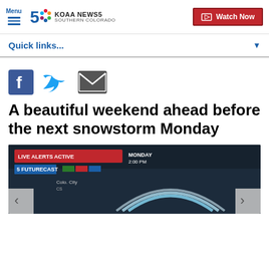Menu | KOAA NEWS5 SOUTHERN COLORADO | Watch Now
Quick links...
[Figure (other): Social share icons: Facebook, Twitter, Email]
A beautiful weekend ahead before the next snowstorm Monday
[Figure (screenshot): KOAA News5 Futurecast weather radar image showing Monday forecast with wind pattern arcs overlay]